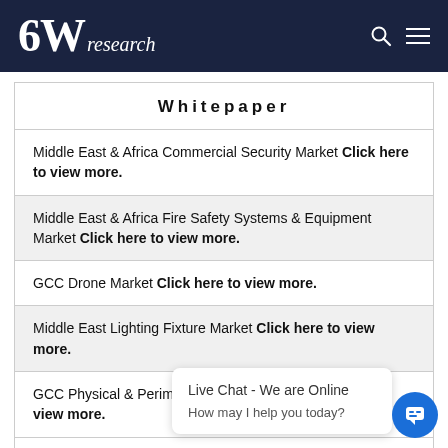6Wresearch
Whitepaper
Middle East & Africa Commercial Security Market Click here to view more.
Middle East & Africa Fire Safety Systems & Equipment Market Click here to view more.
GCC Drone Market Click here to view more.
Middle East Lighting Fixture Market Click here to view more.
GCC Physical & Perimeter Security Market Click here to view more.
READ ALL
Live Chat - We are Online
How may I help you today?